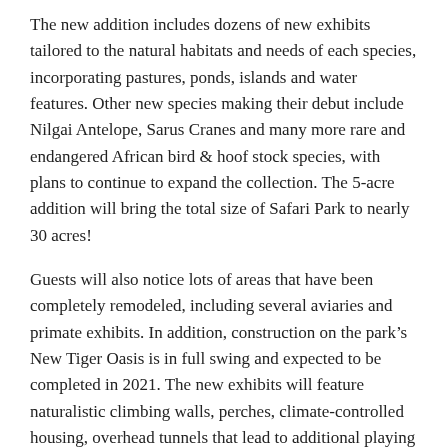The new addition includes dozens of new exhibits tailored to the natural habitats and needs of each species, incorporating pastures, ponds, islands and water features. Other new species making their debut include Nilgai Antelope, Sarus Cranes and many more rare and endangered African bird & hoof stock species, with plans to continue to expand the collection. The 5-acre addition will bring the total size of Safari Park to nearly 30 acres!
Guests will also notice lots of areas that have been completely remodeled, including several aviaries and primate exhibits. In addition, construction on the park’s New Tiger Oasis is in full swing and expected to be completed in 2021. The new exhibits will feature naturalistic climbing walls, perches, climate-controlled housing, overhead tunnels that lead to additional playing grounds, waterfalls and pools suitable for the largest variety of feline found in the World! The enclosed tunnel will allow the cats to climb up and over zoo visitors, giving guests and tigers a truly unique experience from the other. For the next 25...